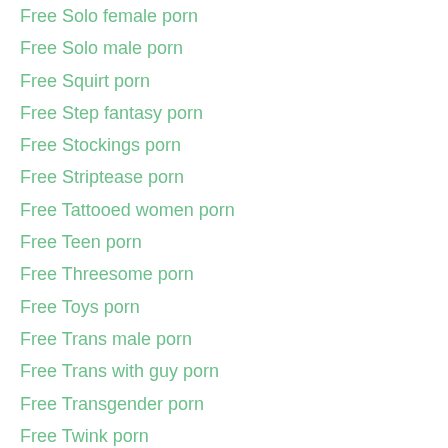Free Solo female porn
Free Solo male porn
Free Squirt porn
Free Step fantasy porn
Free Stockings porn
Free Striptease porn
Free Tattooed women porn
Free Teen porn
Free Threesome porn
Free Toys porn
Free Trans male porn
Free Trans with guy porn
Free Transgender porn
Free Twink porn
Free Verified amateurs porn
Free Verified couples porn
Free Verified models porn